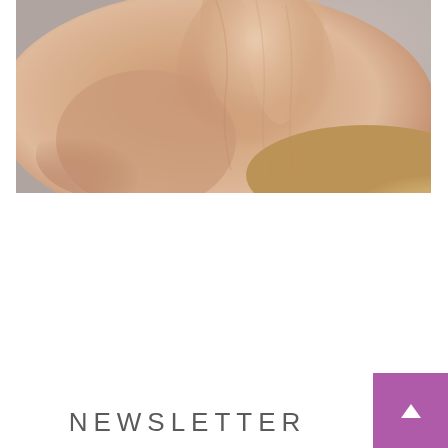[Figure (photo): Close-up photo of a person's hands touching/pressing fingers together against a gray background with a wooden surface, skin-tone colors dominant]
NEWSLETTER